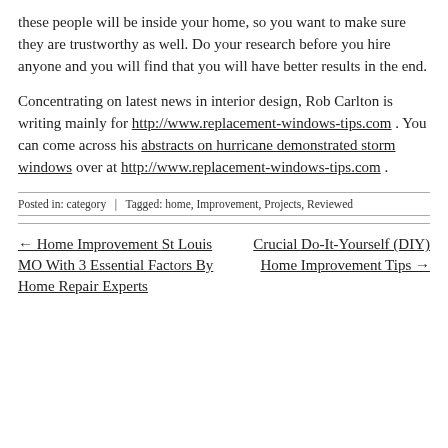these people will be inside your home, so you want to make sure they are trustworthy as well. Do your research before you hire anyone and you will find that you will have better results in the end.
Concentrating on latest news in interior design, Rob Carlton is writing mainly for http://www.replacement-windows-tips.com . You can come across his abstracts on hurricane demonstrated storm windows over at http://www.replacement-windows-tips.com .
Posted in: category  |  Tagged: home, Improvement, Projects, Reviewed
← Home Improvement St Louis MO With 3 Essential Factors By Home Repair Experts
Crucial Do-It-Yourself (DIY) Home Improvement Tips →